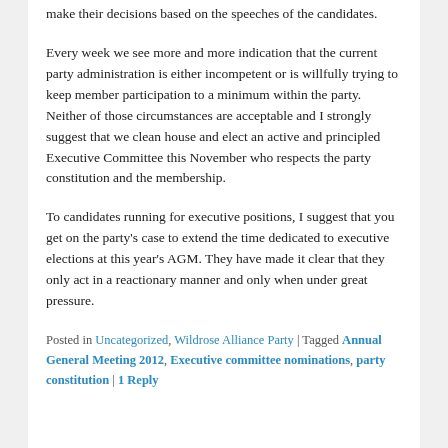make their decisions based on the speeches of the candidates.
Every week we see more and more indication that the current party administration is either incompetent or is willfully trying to keep member participation to a minimum within the party. Neither of those circumstances are acceptable and I strongly suggest that we clean house and elect an active and principled Executive Committee this November who respects the party constitution and the membership.
To candidates running for executive positions, I suggest that you get on the party's case to extend the time dedicated to executive elections at this year's AGM. They have made it clear that they only act in a reactionary manner and only when under great pressure.
Posted in Uncategorized, Wildrose Alliance Party | Tagged Annual General Meeting 2012, Executive committee nominations, party constitution | 1 Reply